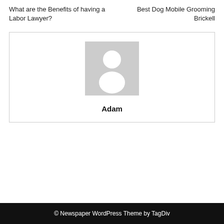What are the Benefits of having a Labor Lawyer?
Best Dog Mobile Grooming Brickell
[Figure (illustration): Default avatar placeholder image — grey square with white silhouette of a person (head and shoulders)]
Adam
© Newspaper WordPress Theme by TagDiv